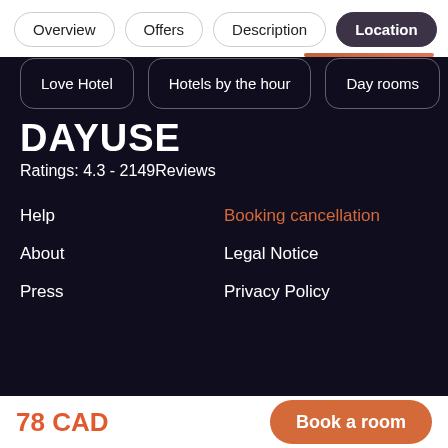Overview | Offers | Description | Location
Love Hotel
Hotels by the hour
Day rooms
DAYUSE
Ratings: 4.3 - 2149Reviews
Help
Booking cancellation
About
Legal Notice
Press
Privacy Policy
78 CAD
Book a room